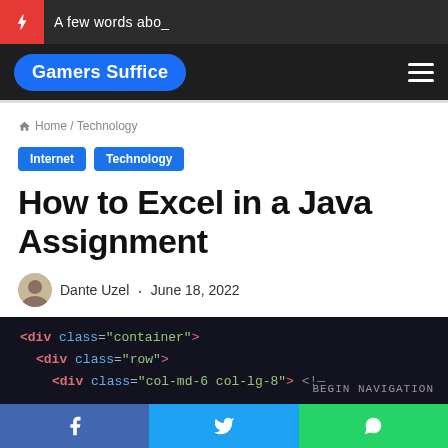A few words abo_
[Figure (logo): Gamers Suffice logo in blue oval with hamburger menu on dark navigation bar]
Home / Technology
Internet  Technology
How to Excel in a Java Assignment
Dante Uzel · June 18, 2022
[Figure (screenshot): Dark code editor screenshot showing HTML div elements with class attributes: container, row, col-md-6 col-lg-8 with BEGIN NAVIGATION comment]
Facebook share  Twitter share  WhatsApp share